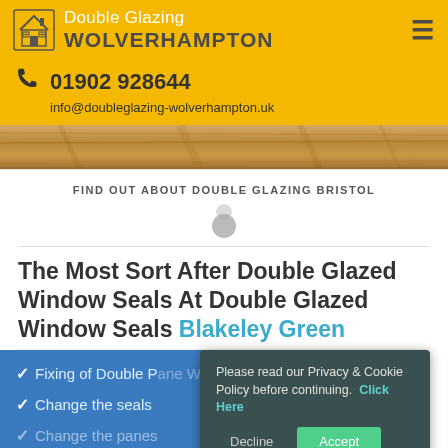Double Glazing WOLVERHAMPTON
01902 928644
info@doubleglazing-wolverhampton.uk
[Figure (photo): Wood texture / flooring background image band]
FIND OUT ABOUT DOUBLE GLAZING BRISTOL
The Most Sort After Double Glazed Window Seals At Double Glazed Window Seals Blakeley Green
Fixing of Double Pane Windows
Change the seals
Please read our Privacy & Cookie Policy before continuing. Click Here
Decline | Accept